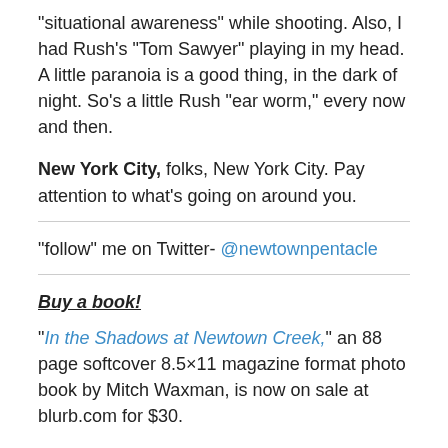“situational awareness” while shooting. Also, I had Rush’s “Tom Sawyer” playing in my head. A little paranoia is a good thing, in the dark of night. So’s a little Rush “ear worm,” every now and then.

New York City, folks, New York City. Pay attention to what’s going on around you.
“follow” me on Twitter- @newtownpentacle
Buy a book!
“In the Shadows at Newtown Creek,” an 88 page softcover 8.5×11 magazine format photo book by Mitch Waxman, is now on sale at blurb.com for $30.